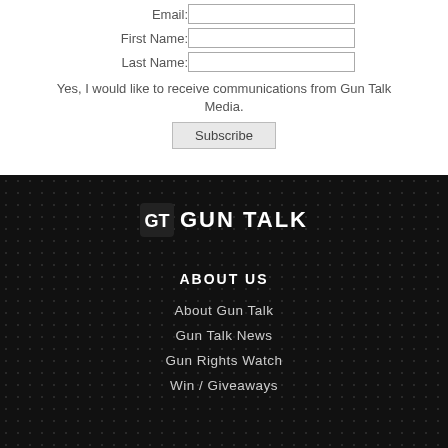Email:
First Name:
Last Name:
Yes, I would like to receive communications from Gun Talk Media.
Subscribe
[Figure (logo): Gun Talk logo with GT icon and text GUN TALK in white on dark background]
ABOUT US
About Gun Talk
Gun Talk News
Gun Rights Watch
Win / Giveaways